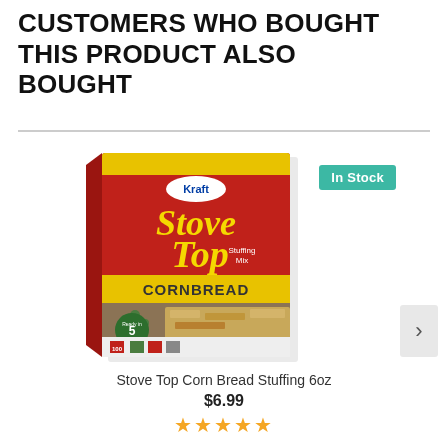CUSTOMERS WHO BOUGHT THIS PRODUCT ALSO BOUGHT
[Figure (photo): Product photo of Kraft Stove Top Cornbread Stuffing Mix 6oz box, red box with yellow Stove Top logo and image of stuffing with peas]
In Stock
Stove Top Corn Bread Stuffing 6oz
$6.99
★★★★★